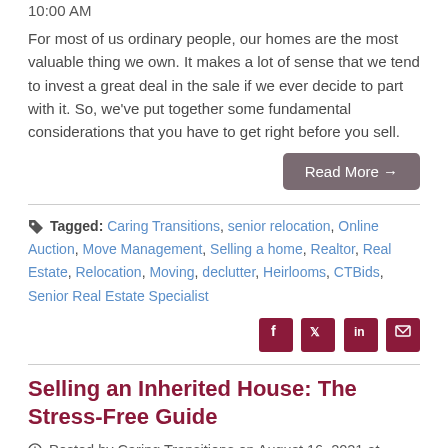10:00 AM
For most of us ordinary people, our homes are the most valuable thing we own. It makes a lot of sense that we tend to invest a great deal in the sale if we ever decide to part with it. So, we've put together some fundamental considerations that you have to get right before you sell.
Read More →
Tagged: Caring Transitions, senior relocation, Online Auction, Move Management, Selling a home, Realtor, Real Estate, Relocation, Moving, declutter, Heirlooms, CTBids, Senior Real Estate Specialist
[Figure (infographic): Social share icons: Facebook, Twitter, LinkedIn, Email]
Selling an Inherited House: The Stress-Free Guide
Posted by Caring Transitions on August 16, 2021 at 10:00 AM